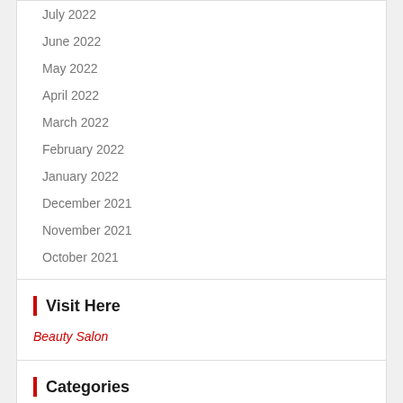July 2022
June 2022
May 2022
April 2022
March 2022
February 2022
January 2022
December 2021
November 2021
October 2021
Visit Here
Beauty Salon
Categories